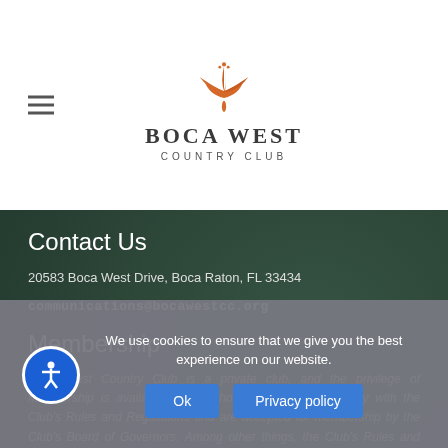[Figure (logo): Boca West Country Club logo with orange floral emblem above the text]
Contact Us
20583 Boca West Drive, Boca Raton, FL 33434
communications@bocawestcc.org
Membership
Boca West Country Club is a private club, and the privilege of Membership is available only to those persons who comply with the Club's Rules and Regulations and are accepted for membership by the Club's Board of Governors. Among other things, the Club's Rules and Regulations provide that membership in the Club requires ownership of a residence within the
We use cookies to ensure that we give you the best experience on our website.